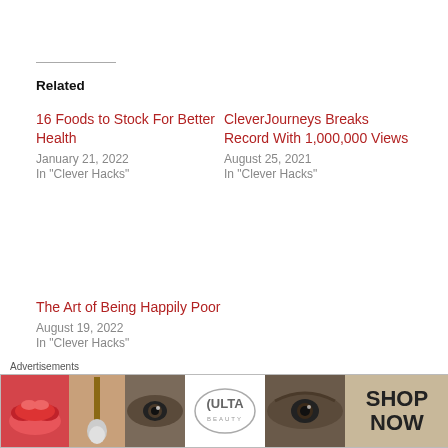Related
16 Foods to Stock For Better Health
January 21, 2022
In "Clever Hacks"
CleverJourneys Breaks Record With 1,000,000 Views
August 25, 2021
In "Clever Hacks"
The Art of Being Happily Poor
August 19, 2022
In "Clever Hacks"
Posted in Attitude. Clever Hacks.
Advertisements
[Figure (illustration): Ulta Beauty advertisement banner showing beauty photos and SHOP NOW call to action]